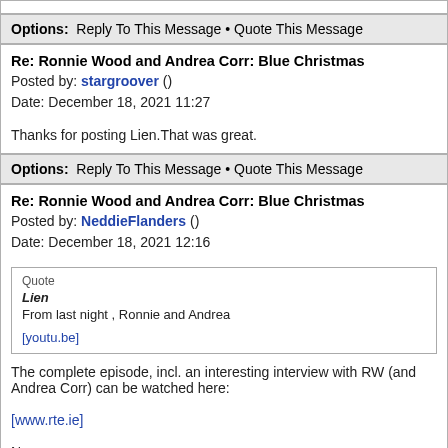Options: Reply To This Message • Quote This Message
Re: Ronnie Wood and Andrea Corr: Blue Christmas
Posted by: stargroover ()
Date: December 18, 2021 11:27
Thanks for posting Lien.That was great.
Options: Reply To This Message • Quote This Message
Re: Ronnie Wood and Andrea Corr: Blue Christmas
Posted by: NeddieFlanders ()
Date: December 18, 2021 12:16
Quote
Lien
From last night , Ronnie and Andrea
[youtu.be]
The complete episode, incl. an interesting interview with RW (and Andrea Corr) can be watched here:

[www.rte.ie]

N
Options: Reply To This Message • Quote This Message